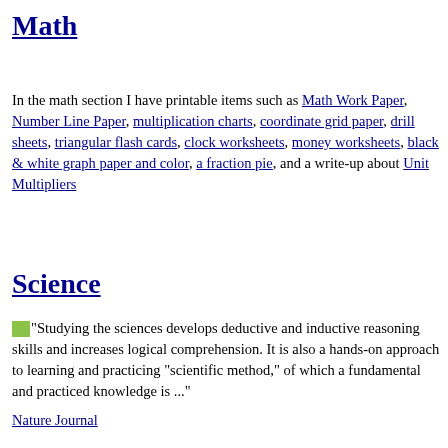Math
In the math section I have printable items such as Math Work Paper, Number Line Paper, multiplication charts, coordinate grid paper, drill sheets, triangular flash cards, clock worksheets, money worksheets, black & white graph paper and color, a fraction pie, and a write-up about Unit Multipliers
Science
"Studying the sciences develops deductive and inductive reasoning skills and increases logical comprehension. It is also a hands-on approach to learning and practicing "scientific method," of which a fundamental and practiced knowledge is ..."
Nature Journal